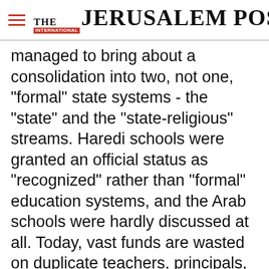[Figure (logo): The Jerusalem Post newspaper logo with hamburger menu icon]
managed to bring about a consolidation into two, not one, "formal" state systems - the "state" and the "state-religious" streams. Haredi schools were granted an official status as "recognized" rather than "formal" education systems, and the Arab schools were hardly discussed at all. Today, vast funds are wasted on duplicate teachers, principals, overseers and buildings to support four separate systems, each with a different ideological commitment and, at least in the case
Advertisement